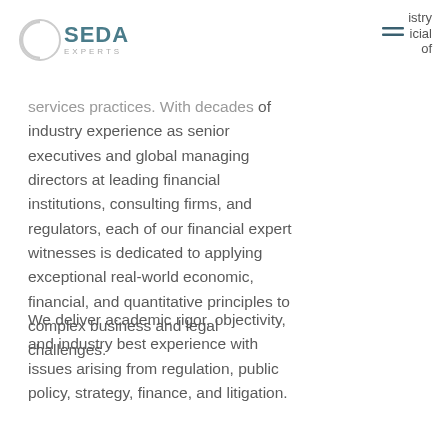SEDA EXPERTS
services practices. With decades of industry experience as senior executives and global managing directors at leading financial institutions, consulting firms, and regulators, each of our financial expert witnesses is dedicated to applying exceptional real-world economic, financial, and quantitative principles to complex business and legal challenges.
We deliver academic rigor, objectivity, and industry best experience with issues arising from regulation, public policy, strategy, finance, and litigation.